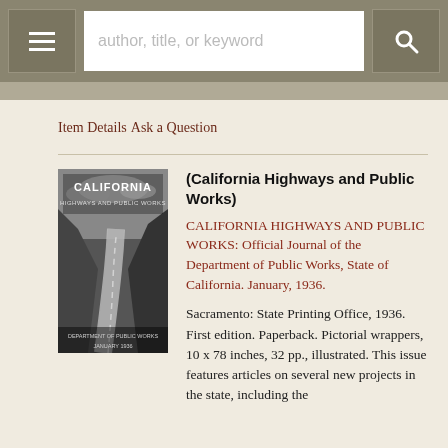author, title, or keyword
Item Details
Ask a Question
[Figure (photo): Book cover of California Highways and Public Works, January 1936, showing a winding road through a canyon in black and white]
(California Highways and Public Works)
CALIFORNIA HIGHWAYS AND PUBLIC WORKS: Official Journal of the Department of Public Works, State of California. January, 1936.
Sacramento: State Printing Office, 1936. First edition. Paperback. Pictorial wrappers, 10 x 78 inches, 32 pp., illustrated. This issue features articles on several new projects in the state, including the